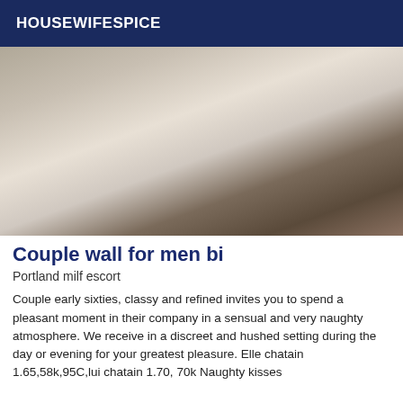HOUSEWIFESPICE
[Figure (photo): A woman posing on a bed wearing a black outfit]
Couple wall for men bi
Portland milf escort
Couple early sixties, classy and refined invites you to spend a pleasant moment in their company in a sensual and very naughty atmosphere. We receive in a discreet and hushed setting during the day or evening for your greatest pleasure. Elle chatain 1.65,58k,95C,lui chatain 1.70, 70k Naughty kisses